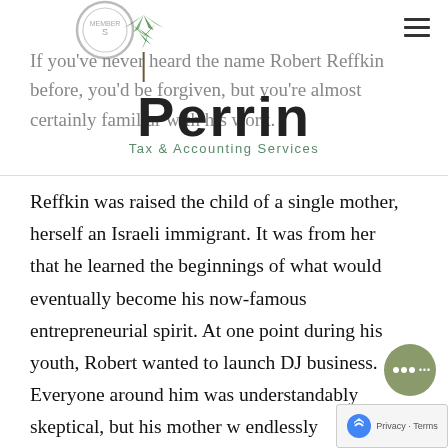[Figure (logo): Perrin Tax & Accounting Services logo with green leaf/tree graphic above the word 'Perrin' in bold black serif font, and 'Tax & Accounting Services' in green below. A gray seal/badge is partially visible at top left.]
If you've never heard the name Robert Reffkin before, you'd be forgiven, but you're almost certainly familiar with his work.
Reffkin was raised the child of a single mother, herself an Israeli immigrant. It was from her that he learned the beginnings of what would eventually become his now-famous entrepreneurial spirit. At one point during his youth, Robert wanted to launch DJ business. Everyone around him was understandably skeptical, but his mother was endlessly encouraging. That business became